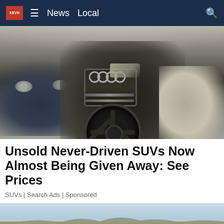KEVN  ≡  News  Local  🔍
[Figure (photo): Several SUVs and luxury cars covered in dust/mud parked together, including an Audi in the center foreground with visible rings badge and black alloy wheel]
Unsold Never-Driven SUVs Now Almost Being Given Away: See Prices
SUVs | Search Ads | Sponsored
[Figure (photo): Landscape photo showing a road with flat terrain and distant buttes/mesas under a light blue sky, with a Black Hills Works advertisement banner overlay at the bottom reading LOVE WHAT YOU DO. >> >> Check us out! careers.BlackHillsWorks.org]